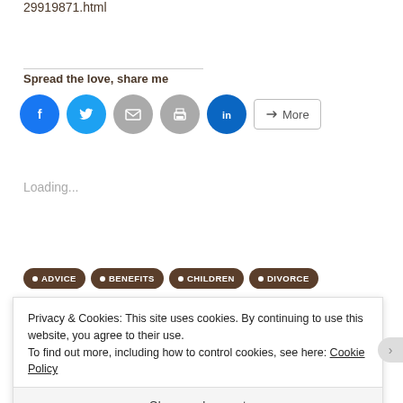29919871.html
Spread the love, share me
[Figure (other): Social sharing buttons: Facebook (blue circle), Twitter (light blue circle), Email (grey circle), Print (grey circle), LinkedIn (dark blue circle), and a More button]
Loading...
ADVICE
BENEFITS
CHILDREN
DIVORCE
Privacy & Cookies: This site uses cookies. By continuing to use this website, you agree to their use.
To find out more, including how to control cookies, see here: Cookie Policy
Close and accept